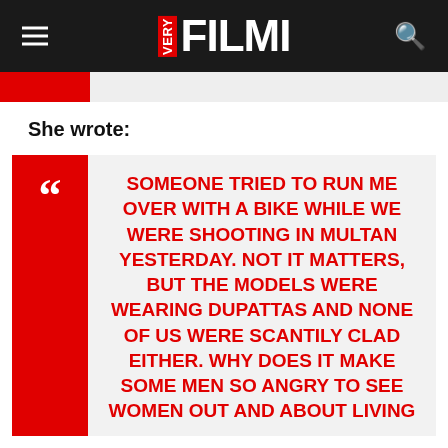VERY FILMI
She wrote:
SOMEONE TRIED TO RUN ME OVER WITH A BIKE WHILE WE WERE SHOOTING IN MULTAN YESTERDAY. NOT IT MATTERS, BUT THE MODELS WERE WEARING DUPATTAS AND NONE OF US WERE SCANTILY CLAD EITHER. WHY DOES IT MAKE SOME MEN SO ANGRY TO SEE WOMEN OUT AND ABOUT LIVING